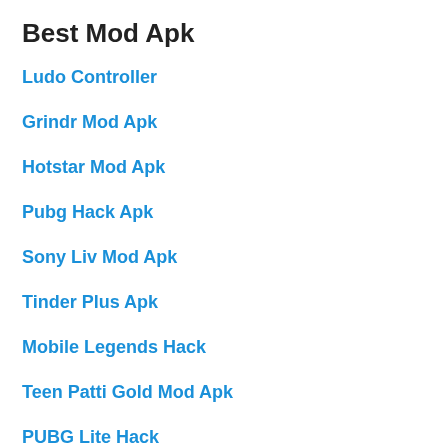Best Mod Apk
Ludo Controller
Grindr Mod Apk
Hotstar Mod Apk
Pubg Hack Apk
Sony Liv Mod Apk
Tinder Plus Apk
Mobile Legends Hack
Teen Patti Gold Mod Apk
PUBG Lite Hack
Mini Militia Hack